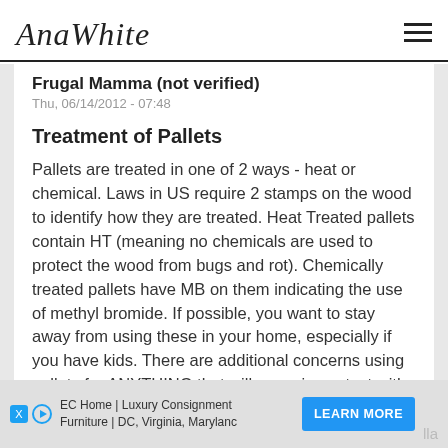AnaWhite
Frugal Mamma (not verified)
Thu, 06/14/2012 - 07:48
Treatment of Pallets
Pallets are treated in one of 2 ways - heat or chemical. Laws in US require 2 stamps on the wood to identify how they are treated. Heat Treated pallets contain HT (meaning no chemicals are used to protect the wood from bugs and rot). Chemically treated pallets have MB on them indicating the use of methyl bromide. If possible, you want to stay away from using these in your home, especially if you have kids. There are additional concerns using pallets for ANYTHING that will come in contact with
EC Home | Luxury Consignment Furniture | DC, Virginia, Maryland